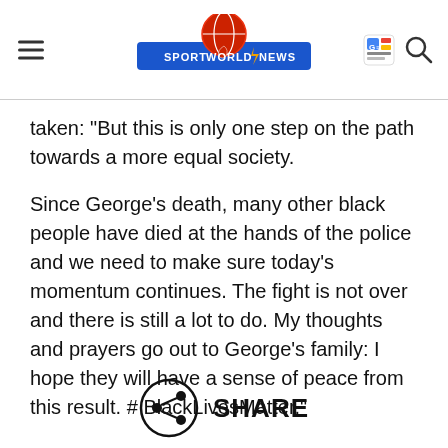SPORT WORLD NEWS
taken: "But this is only one step on the path towards a more equal society.
Since George's death, many other black people have died at the hands of the police and we need to make sure today's momentum continues. The fight is not over and there is still a lot to do. My thoughts and prayers go out to George's family: I hope they will have a sense of peace from this result. # BlackLivesMatter."
[Figure (other): Share button icon with circle and share symbol, labeled SHARE]